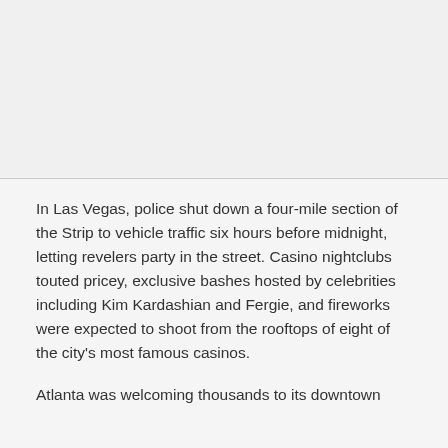[Figure (photo): Blank/placeholder image area at top of page]
In Las Vegas, police shut down a four-mile section of the Strip to vehicle traffic six hours before midnight, letting revelers party in the street. Casino nightclubs touted pricey, exclusive bashes hosted by celebrities including Kim Kardashian and Fergie, and fireworks were expected to shoot from the rooftops of eight of the city's most famous casinos.
Atlanta was welcoming thousands to its downtown